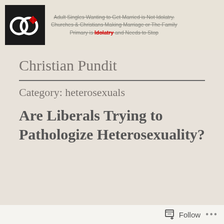[Figure (logo): Blog banner with logo (two interlocked rings with a red diamond on black square background) and strikethrough text about Adult Singles Wanting to Get Married is Not Idolatry. Churches & Christians Making Marriage or The Family Primary is Idolatry and Needs to Stop.]
Christian Pundit
Category: heterosexuals
Are Liberals Trying to Pathologize Heterosexuality?
Follow